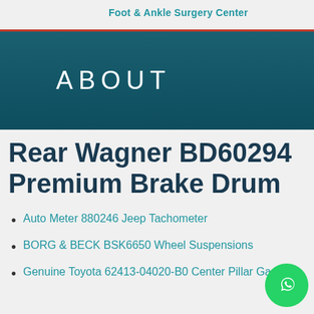Foot & Ankle Surgery Center
ABOUT
Rear Wagner BD60294 Premium Brake Drum
Auto Meter 880246 Jeep Tachometer
BORG & BECK BSK6650 Wheel Suspensions
Genuine Toyota 62413-04020-B0 Center Pillar Garnish